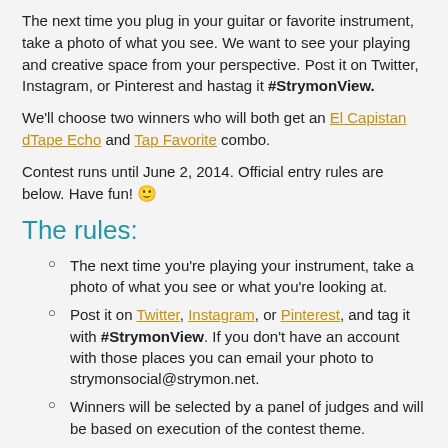The next time you plug in your guitar or favorite instrument, take a photo of what you see. We want to see your playing and creative space from your perspective. Post it on Twitter, Instagram, or Pinterest and hastag it #StrymonView.
We'll choose two winners who will both get an El Capistan dTape Echo and Tap Favorite combo.
Contest runs until June 2, 2014. Official entry rules are below. Have fun! 🙂
The rules:
The next time you're playing your instrument, take a photo of what you see or what you're looking at.
Post it on Twitter, Instagram, or Pinterest, and tag it with #StrymonView. If you don't have an account with those places you can email your photo to strymonsocial@strymon.net.
Winners will be selected by a panel of judges and will be based on execution of the contest theme.